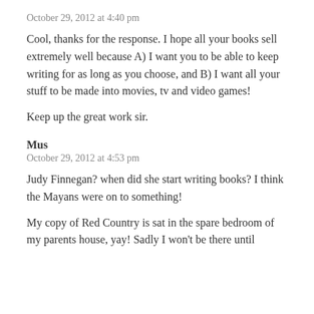October 29, 2012 at 4:40 pm
Cool, thanks for the response. I hope all your books sell extremely well because A) I want you to be able to keep writing for as long as you choose, and B) I want all your stuff to be made into movies, tv and video games!
Keep up the great work sir.
Mus
October 29, 2012 at 4:53 pm
Judy Finnegan? when did she start writing books? I think the Mayans were on to something!
My copy of Red Country is sat in the spare bedroom of my parents house, yay! Sadly I won't be there until